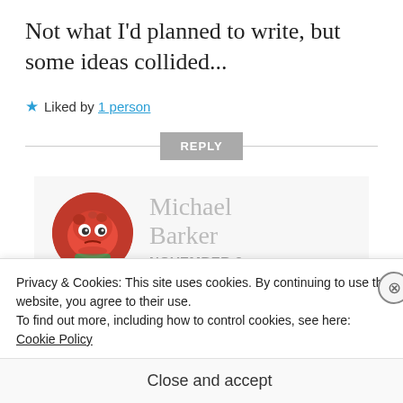Not what I'd planned to write, but some ideas collided...
★ Liked by 1 person
[Figure (screenshot): Reply button with horizontal rule divider]
[Figure (photo): Comment block showing avatar of Michael Barker (cartoon red creature) and name Michael Barker, date NOVEMBER 3, 2021 AT 7:40 AM (partially visible)]
Privacy & Cookies: This site uses cookies. By continuing to use this website, you agree to their use.
To find out more, including how to control cookies, see here:
Cookie Policy
Close and accept